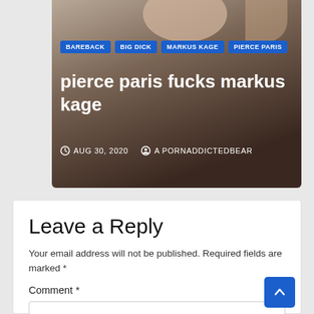[Figure (screenshot): Thumbnail image of a blog post with dark background showing two people, overlaid with tags and title text]
BAREBACK
BIG DICK
MARKUS KAGE
PIERCE PARIS
pierce paris fucks markus kage
AUG 30, 2020   A PORNADDICTEDBEAR
Leave a Reply
Your email address will not be published. Required fields are marked *
Comment *